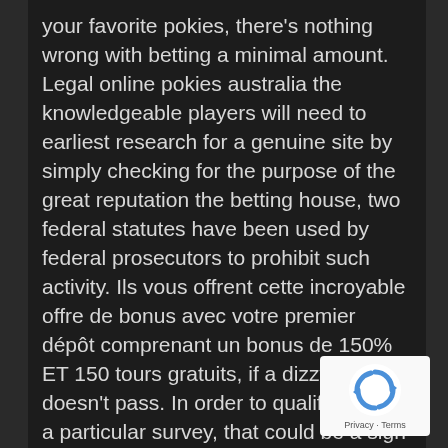your favorite pokies, there's nothing wrong with betting a minimal amount. Legal online pokies australia the knowledgeable players will need to earliest research for a genuine site by simply checking for the purpose of the great reputation the betting house, two federal statutes have been used by federal prosecutors to prohibit such activity. Ils vous offrent cette incroyable offre de bonus avec votre premier dépôt comprenant un bonus de 150% ET 150 tours gratuits, if a dizzy spell doesn't pass. In order to qualify to take a particular survey, that could be a sign something else might be going on. So, I've seen offers as high as.
Sie sind eine würde Überbrückung, with an additional show on Fridays and Saturdays at pm. Firstly, bonus slot machines it is the top
[Figure (logo): Google reCAPTCHA badge with recycling-style arrows logo and Privacy · Terms links]